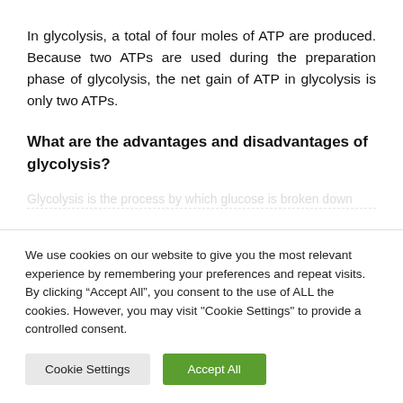In glycolysis, a total of four moles of ATP are produced. Because two ATPs are used during the preparation phase of glycolysis, the net gain of ATP in glycolysis is only two ATPs.
What are the advantages and disadvantages of glycolysis?
We use cookies on our website to give you the most relevant experience by remembering your preferences and repeat visits. By clicking “Accept All”, you consent to the use of ALL the cookies. However, you may visit "Cookie Settings" to provide a controlled consent.